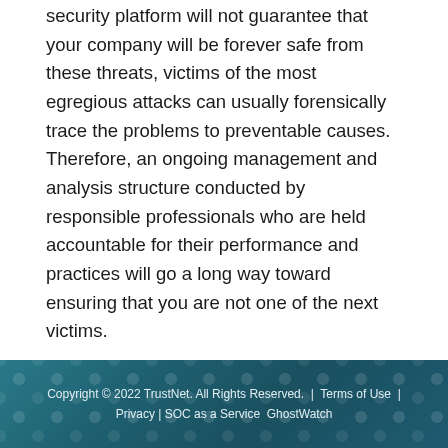security platform will not guarantee that your company will be forever safe from these threats, victims of the most egregious attacks can usually forensically trace the problems to preventable causes. Therefore, an ongoing management and analysis structure conducted by responsible professionals who are held accountable for their performance and practices will go a long way toward ensuring that you are not one of the next victims.
Copyright © 2022 TrustNet. All Rights Reserved. | Terms of Use | Privacy | SOC as a Service GhostWatch